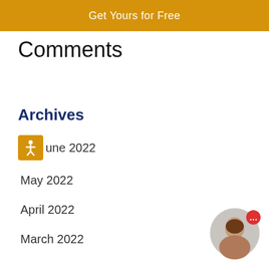Get Yours for Free
Comments
Archives
June 2022
May 2022
April 2022
March 2022
[Figure (illustration): Chat widget with person avatar and notification dot]